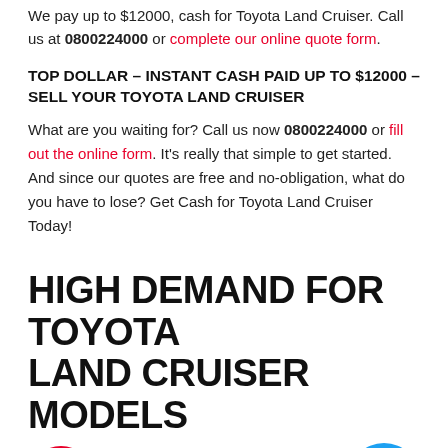We pay up to $12000, cash for Toyota Land Cruiser. Call us at 0800224000 or complete our online quote form.
TOP DOLLAR – INSTANT CASH PAID UP TO $12000 – SELL YOUR TOYOTA LAND CRUISER
What are you waiting for? Call us now 0800224000 or fill out the online form. It's really that simple to get started. And since our quotes are free and no-obligation, what do you have to lose? Get Cash for Toyota Land Cruiser Today!
HIGH DEMAND FOR TOYOTA LAND CRUISER MODELS
We buy all variants for Land Cruiser as we are specialist